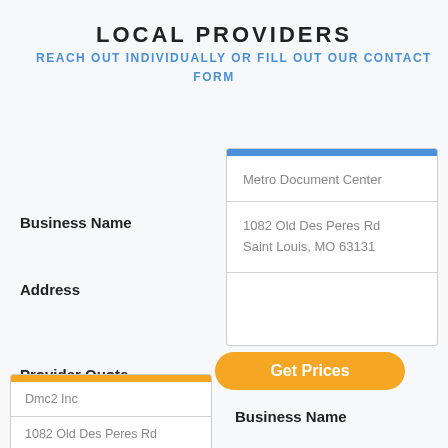LOCAL PROVIDERS
REACH OUT INDIVIDUALLY OR FILL OUT OUR CONTACT FORM
| Field | Value |
| --- | --- |
| Business Name | Metro Document Center |
| Address | 1082 Old Des Peres Rd
Saint Louis, MO 63131 |
| Provider Quote |  |
Get Prices
| Field | Value |
| --- | --- |
| Business Name | Dmc2 Inc |
| Address | 1082 Old Des Peres Rd |
Business Name